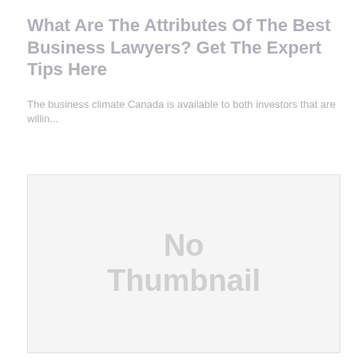What Are The Attributes Of The Best Business Lawyers? Get The Expert Tips Here
The business climate Canada is available to both investors that are willin...
[Figure (other): Placeholder image showing 'No Thumbnail' text on a light grey background]